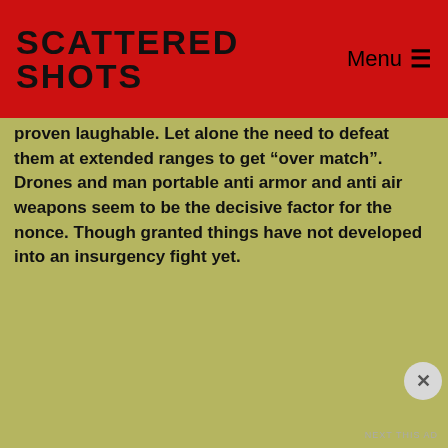Scattered Shots — Menu
proven laughable. Let alone the need to defeat them at extended ranges to get “over match”. Drones and man portable anti armor and anti air weapons seem to be the decisive factor for the nonce. Though granted things have not developed into an insurgency fight yet.
Of course, no one retires as a four star general to get a pie job at SIG or HK talking like that.
Advertisements